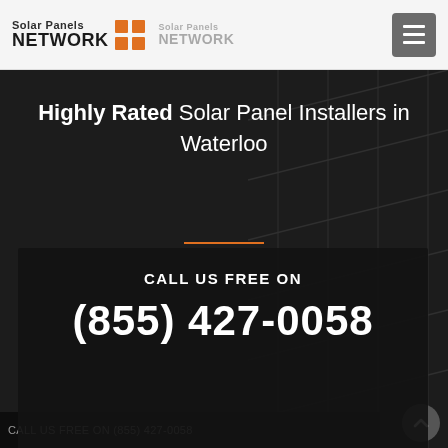Solar Panels NETWORK
Highly Rated Solar Panel Installers in Waterloo
CALL US FREE ON
(855) 427-0058
CALL US FREE ON (855) 427-0058